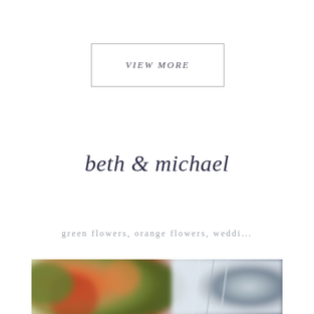VIEW MORE
beth & michael
green flowers, orange flowers, weddi...
[Figure (photo): Blurred close-up photo of orange and green flowers on the left half, and a beaded/jeweled silver dress or fabric detail on the right half.]